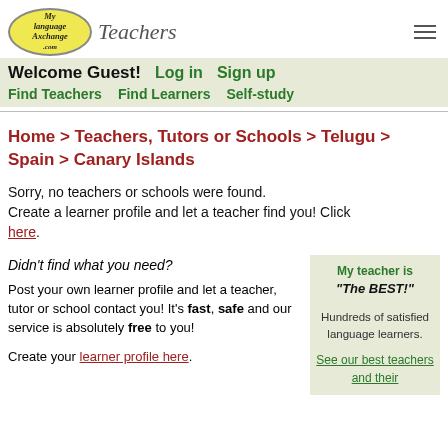MyLanguageExchange.com Teachers
Welcome Guest! Log in Sign up
Find Teachers  Find Learners  Self-study
Home > Teachers, Tutors or Schools > Telugu > Spain > Canary Islands
Sorry, no teachers or schools were found. Create a learner profile and let a teacher find you! Click here.
Didn't find what you need?
Post your own learner profile and let a teacher, tutor or school contact you! It's fast, safe and our service is absolutely free to you!
Create your learner profile here.
My teacher is "The BEST!" Hundreds of satisfied language learners. See our best teachers and their